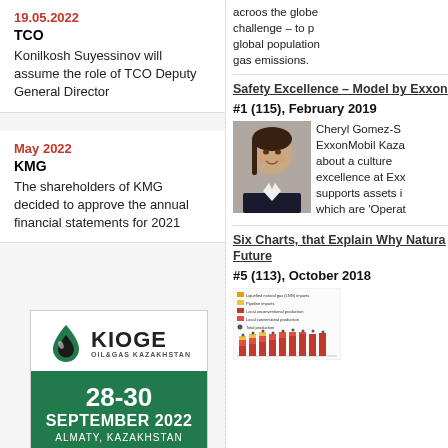acroos the globe... challenge – to p... global population... gas emissions.
19.05.2022
TCO
Konilkosh Suyessinov will assume the role of TCO Deputy General Director
May 2022
KMG
The shareholders of KMG decided to approve the annual financial statements for 2021
[Figure (logo): KIOGE Oil&Gas Kazakhstan logo with green droplet icon, dates 28-30 September 2022 Almaty Kazakhstan]
Safety Excellence – Model by Exxon
#1 (115), February 2019
[Figure (photo): Portrait photo of Cheryl Gomez-S, ExxonMobil Kazakhstan representative]
Cheryl Gomez-S... ExxonMobil Kaza... about a culture... excellence at Exx... supports assets i... which are 'Operat...
Six Charts, that Explain Why Natura... Future
#5 (113), October 2018
[Figure (bar-chart): Stacked bar chart showing natural gas data with red/yellow/orange bars and legend items]